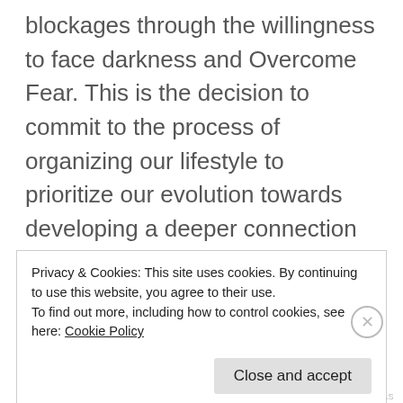blockages through the willingness to face darkness and Overcome Fear. This is the decision to commit to the process of organizing our lifestyle to prioritize our evolution towards developing a deeper connection with God, in our prayerful request to help us overcome darkness in order to achieve spiritual freedom. This comes with the necessity of reprogramming our mind into right effort and right thinking, and to remove all that fear content which obstructs the relationship with our
Privacy & Cookies: This site uses cookies. By continuing to use this website, you agree to their use.
To find out more, including how to control cookies, see here: Cookie Policy
NUPPERTO.AS